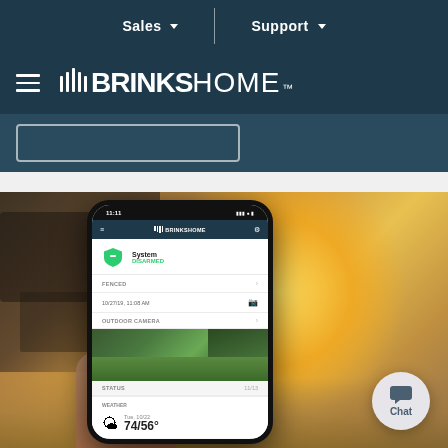Sales ▾  |  Support ▾
[Figure (logo): Brinks Home logo with hamburger menu icon on dark teal/navy background]
[Figure (screenshot): Hero image showing a hand holding a smartphone displaying the Brinks Home app. The app shows the system status as 'DISARMED' with a green shield icon, a camera feed labeled 'OUTDOOR CAMERA' showing a backyard with a pool, and a weather widget showing 74/56°F. Background shows an outdoor setting with warm golden sunlight.]
Chat